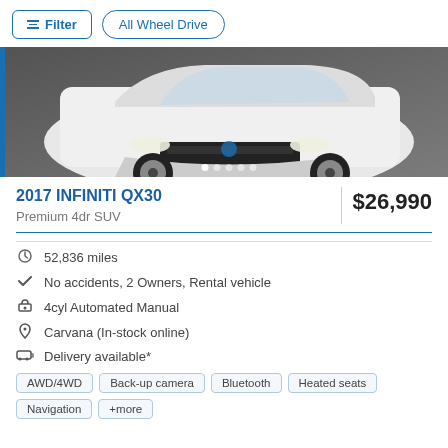Filter | All Wheel Drive
[Figure (photo): Front view of a white 2017 INFINITI QX30 SUV in a studio setting with carousel navigation dots at the bottom]
2017 INFINITI QX30
$26,990
Premium 4dr SUV
52,836 miles
No accidents, 2 Owners, Rental vehicle
4cyl Automated Manual
Carvana (In-stock online)
Delivery available*
AWD/4WD | Back-up camera | Bluetooth | Heated seats | Navigation | +more